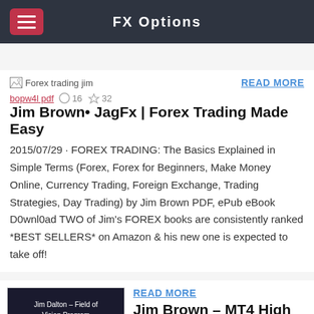FX Options
[Figure (screenshot): Broken image placeholder for 'Forex trading jim']
READ MORE
bopw4l pdf  16  32
Jim Brown• JagFx | Forex Trading Made Easy
2015/07/29 · FOREX TRADING: The Basics Explained in Simple Terms (Forex, Forex for Beginners, Make Money Online, Currency Trading, Foreign Exchange, Trading Strategies, Day Trading) by Jim Brown PDF, ePub eBook D0wnl0ad TWO of Jim's FOREX books are consistently ranked *BEST SELLERS* on Amazon & his new one is expected to take off!
[Figure (photo): Book cover: Jim Dalton - Field of Vision Program Digital Download]
READ MORE
Jim Brown – MT4 High Probability Forex Trading